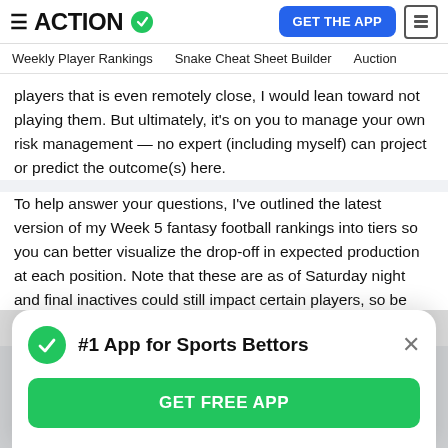ACTION [logo with checkmark] | GET THE APP [button]
Weekly Player Rankings   Snake Cheat Sheet Builder   Auction
players that is even remotely close, I would lean toward not playing them. But ultimately, it's on you to manage your own risk management — no expert (including myself) can project or predict the outcome(s) here.
To help answer your questions, I've outlined the latest version of my Week 5 fantasy football rankings into tiers so you can better visualize the drop-off in expected production at each position. Note that these are as of Saturday night and final inactives could still impact certain players, so be sure to check my updated rankings before
#1 App for Sports Bettors
GET FREE APP